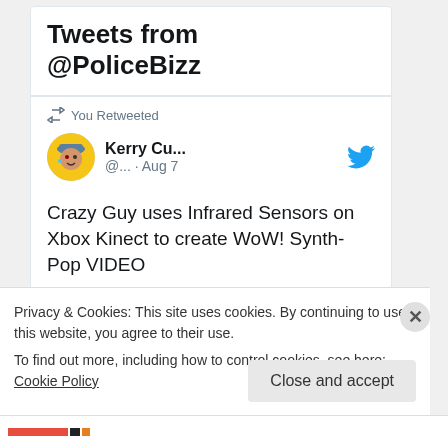Tweets from @PoliceBizz
You Retweeted
Kerry Cu... @... · Aug 7
Crazy Guy uses Infrared Sensors on Xbox Kinect to create WoW! Synth-Pop VIDEO
mathspig.wordpress.com/2022/08/07/cra...
#XboxGameClub
Privacy & Cookies: This site uses cookies. By continuing to use this website, you agree to their use.
To find out more, including how to control cookies, see here: Cookie Policy
Close and accept